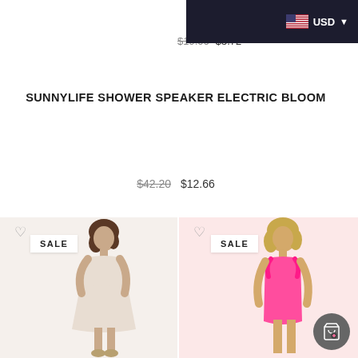RING – USD
$19.06  $5.72
SUNNYLIFE SHOWER SPEAKER ELECTRIC BLOOM
$42.20  $12.66
[Figure (photo): Woman in white tiered ruffle dress with SALE badge]
[Figure (photo): Woman in hot pink one-piece swimsuit with ruffle straps and SALE badge]